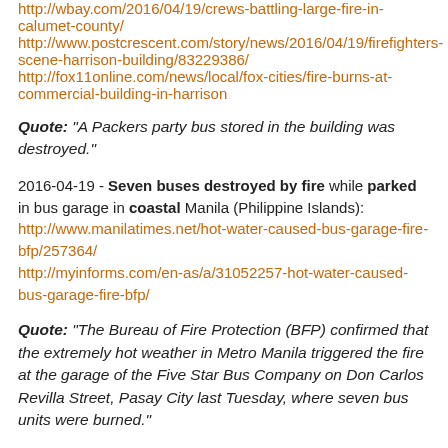http://wbay.com/2016/04/19/crews-battling-large-fire-in-calumet-county/
http://www.postcrescent.com/story/news/2016/04/19/firefighters-scene-harrison-building/83229386/
http://fox11online.com/news/local/fox-cities/fire-burns-at-commercial-building-in-harrison
Quote: "A Packers party bus stored in the building was destroyed."
2016-04-19 - Seven buses destroyed by fire while parked in bus garage in coastal Manila (Philippine Islands):
http://www.manilatimes.net/hot-water-caused-bus-garage-fire-bfp/257364/
http://myinforms.com/en-as/a/31052257-hot-water-caused-bus-garage-fire-bfp/
Quote: "The Bureau of Fire Protection (BFP) confirmed that the extremely hot weather in Metro Manila triggered the fire at the garage of the Five Star Bus Company on Don Carlos Revilla Street, Pasay City last Tuesday, where seven bus units were burned."